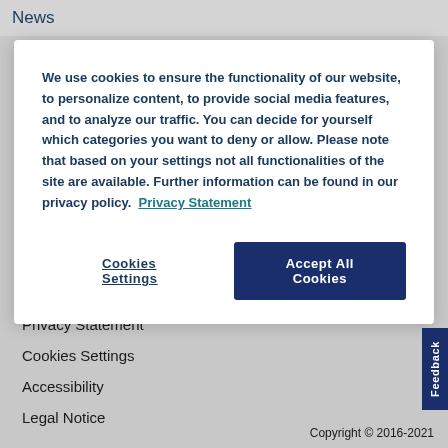News
We use cookies to ensure the functionality of our website, to personalize content, to provide social media features, and to analyze our traffic. You can decide for yourself which categories you want to deny or allow. Please note that based on your settings not all functionalities of the site are available. Further information can be found in our privacy policy.  Privacy Statement
Cookies Settings
Accept All Cookies
Privacy Statement
Cookies Settings
Accessibility
Legal Notice
Copyright © 2016-2021